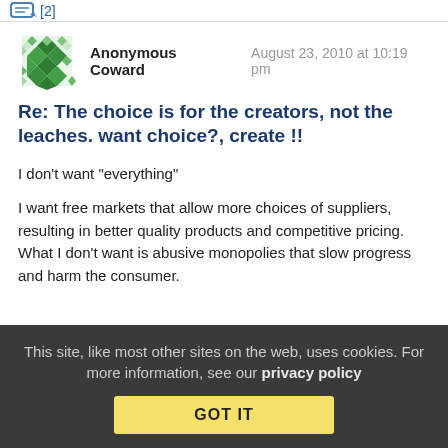[2]
Anonymous Coward   August 23, 2010 at 10:19 pm
Re: The choice is for the creators, not the leaches. want choice?, create !!
I don't want "everything"

I want free markets that allow more choices of suppliers, resulting in better quality products and competitive pricing. What I don't want is abusive monopolies that slow progress and harm the consumer.
This site, like most other sites on the web, uses cookies. For more information, see our privacy policy
GOT IT